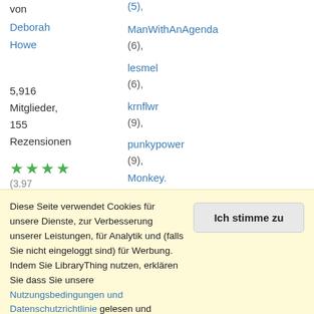von Deborah Howe
Barb_n (5),
ManWithAnAgenda (6),
lesmel (6),
krnflwr (9),
punkypower (9),
Monkey. (11),
UnrulySun (11)
5,916 Mitglieder, 155 Rezensionen
★★★★ (3.97 Sterne)
— 20 mehr
Diese Seite verwendet Cookies für unsere Dienste, zur Verbesserung unserer Leistungen, für Analytik und (falls Sie nicht eingeloggt sind) für Werbung. Indem Sie LibraryThing nutzen, erklären Sie dass Sie unsere Nutzungsbedingungen und Datenschutzrichtlinie gelesen und verstanden haben. Die Nutzung unserer Webseite und Dienste unterliegt diesen Richtlinien und Geschäftsbedingungen.
Ich stimme zu